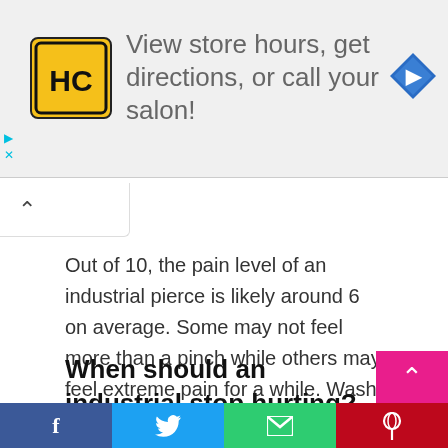[Figure (screenshot): Advertisement banner with HC salon logo, text 'View store hours, get directions, or call your salon!', and a blue navigation arrow icon. Skip/close controls visible on left.]
Out of 10, the pain level of an industrial pierce is likely around 6 on average. Some may not feel more than a pinch while others may feel extreme pain for a while. Wash the piercing sites with sterile saline solution twice a day and allow to air dry until fully healed.
When should an industrial stop hurting?
[Figure (screenshot): Social share bar at bottom with Facebook, Twitter, Email, and Pinterest buttons. Pink scroll-up button on right side.]